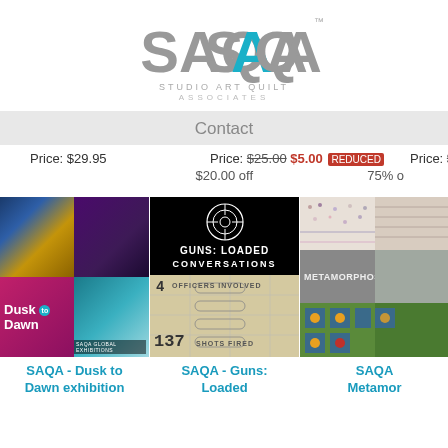[Figure (logo): SAQA Studio Art Quilt Associates logo with teal and gray lettering]
Contact
Price: $29.95
Price: $25.00  $5.00  $20.00 off
Price: $20.00  $5  75% o
[Figure (photo): SAQA Dusk to Dawn exhibition catalog cover - grid of quilt images with Dusk to Dawn text]
[Figure (photo): SAQA Guns: Loaded Conversations exhibition catalog - black top with target graphic, beige bottom with 4 officers involved, 137 shots fired text]
[Figure (photo): SAQA Metamorphosis exhibition - partial view of textile art and exhibition catalog]
SAQA - Dusk to Dawn exhibition
SAQA - Guns: Loaded
SAQA Metamor